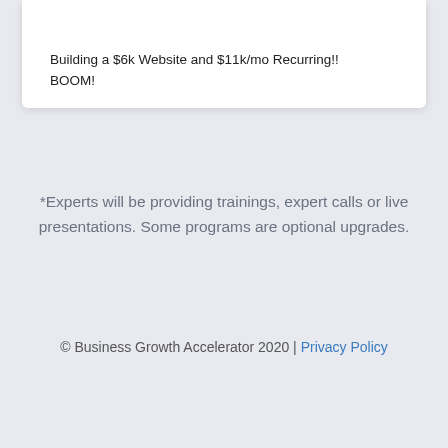Building a $6k Website and $11k/mo Recurring!!
BOOM!
*Experts will be providing trainings, expert calls or live presentations. Some programs are optional upgrades.
© Business Growth Accelerator 2020 | Privacy Policy